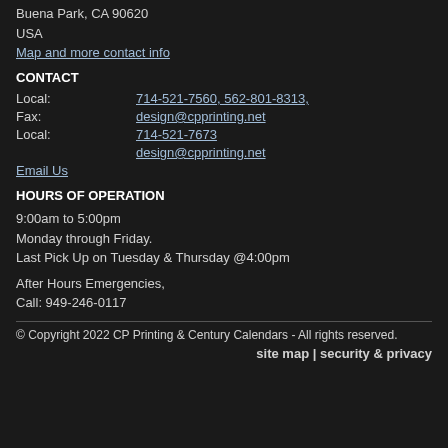Buena Park, CA 90620
USA
Map and more contact info
CONTACT
Local: 714-521-7560, 562-801-8313,
Fax: design@cpprinting.net
Local: 714-521-7673
design@cpprinting.net
Email Us
HOURS OF OPERATION
9:00am to 5:00pm
Monday through Friday.
Last Pick Up on Tuesday & Thursday @4:00pm
After Hours Emergencies,
Call: 949-246-0117
© Copyright 2022 CP Printing & Century Calendars - All rights reserved.
site map | security & privacy